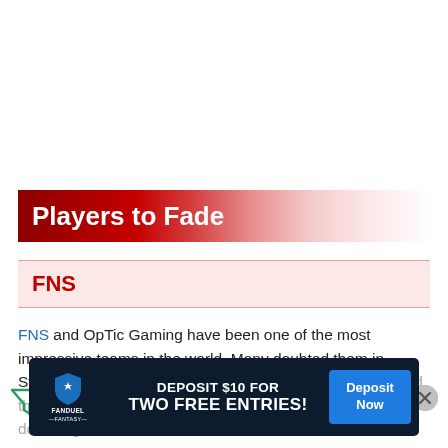Players to Fade
FNS
FNS and OpTic Gaming have been one of the most impressive teams in the world. Many doubted them in Stage 1, and they pulled it together to win VCT. Reylo and the picks it's in fade section. The in-game leader simply doesn't get the kills
[Figure (logo): FanDuel Fantasy advertisement banner: DEPOSIT $10 FOR TWO FREE ENTRIES! with Deposit Now button]